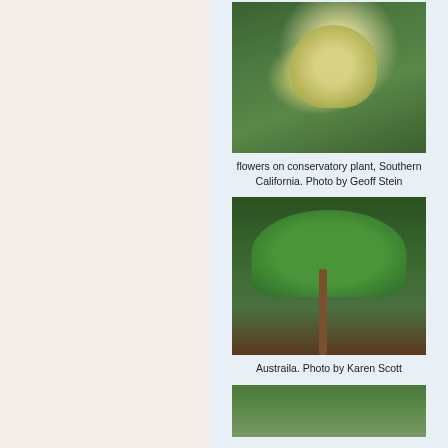[Figure (photo): Flowers on a palm/cycad conservatory plant with long drooping yellow flower stalks, surrounded by green tropical foliage, Southern California]
flowers on conservatory plant, Southern California. Photo by Geoff Stein
[Figure (photo): Fan palm tree with large round green fan-shaped leaves on a slender brown trunk, set in a garden with mulch ground cover and forest background, Australia]
Austraila. Photo by Karen Scott
[Figure (photo): Partial view of tropical plant foliage, partially cropped at bottom of page]